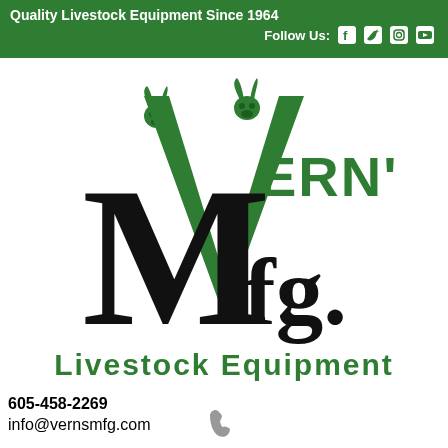Quality Livestock Equipment Since 1964
Follow Us:
[Figure (logo): Vern's Mfg. Livestock Equipment logo featuring large black M with green V overlaid, bull head icons, and green text reading VERN'S and Livestock Equipment]
[Figure (illustration): Gray telephone handset icon]
605-458-2269
info@vernsmfg.com